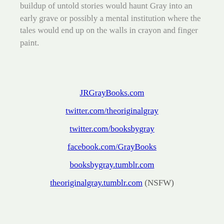buildup of untold stories would haunt Gray into an early grave or possibly a mental institution where the tales would end up on the walls in crayon and finger paint.
JRGrayBooks.com
twitter.com/theoriginalgray
twitter.com/booksbygray
facebook.com/GrayBooks
booksbygray.tumblr.com
theoriginalgray.tumblr.com (NSFW)